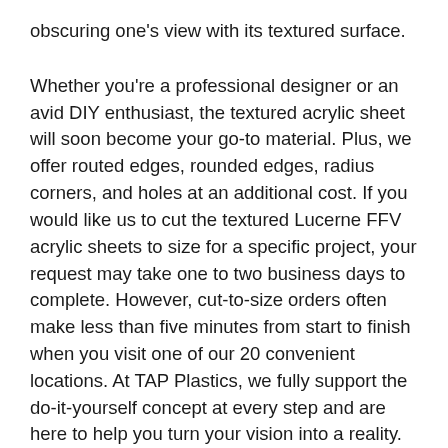obscuring one's view with its textured surface.
Whether you're a professional designer or an avid DIY enthusiast, the textured acrylic sheet will soon become your go-to material. Plus, we offer routed edges, rounded edges, radius corners, and holes at an additional cost. If you would like us to cut the textured Lucerne FFV acrylic sheets to size for a specific project, your request may take one to two business days to complete. However, cut-to-size orders often make less than five minutes from start to finish when you visit one of our 20 convenient locations. At TAP Plastics, we fully support the do-it-yourself concept at every step and are here to help you turn your vision into a reality. Please don't hesitate to call or email us today if you have any questions about our textured Lucerne FFV sheets or require expert assistance.